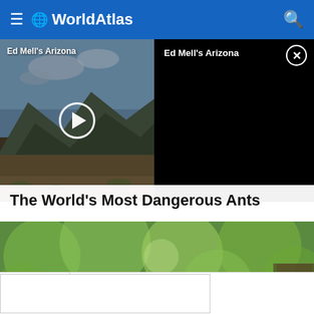WorldAtlas
[Figure (screenshot): Video thumbnail for Ed Mell's Arizona showing desert landscape with mountains and a play button]
[Figure (screenshot): Black video player panel for Ed Mell's Arizona with close button]
The World's Most Dangerous Ants
[Figure (photo): Close-up macro photograph of a black ant on a hairy green plant stem, with blurred green bokeh background]
[Figure (screenshot): Partial white content area at the bottom of the page with a bordered box]